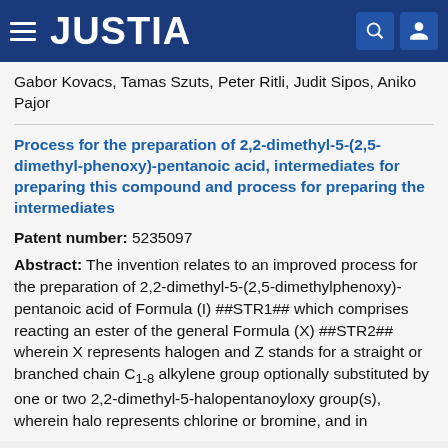JUSTIA
Gabor Kovacs, Tamas Szuts, Peter Ritli, Judit Sipos, Aniko Pajor
Process for the preparation of 2,2-dimethyl-5-(2,5-dimethyl-phenoxy)-pentanoic acid, intermediates for preparing this compound and process for preparing the intermediates
Patent number: 5235097
Abstract: The invention relates to an improved process for the preparation of 2,2-dimethyl-5-(2,5-dimethylphenoxy)-pentanoic acid of Formula (I) ##STR1## which comprises reacting an ester of the general Formula (X) ##STR2## wherein X represents halogen and Z stands for a straight or branched chain C.sub.1-8 alkylene group optionally substituted by one or two 2,2-dimethyl-5-halopentanoyloxy group(s), wherein halo represents chlorine or bromine, and in